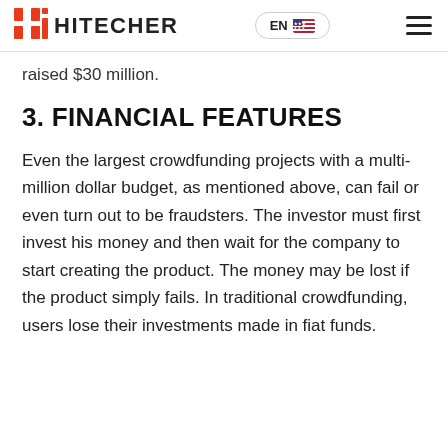HITECHER  EN
raised $30 million.
3. FINANCIAL FEATURES
Even the largest crowdfunding projects with a multi-million dollar budget, as mentioned above, can fail or even turn out to be fraudsters. The investor must first invest his money and then wait for the company to start creating the product. The money may be lost if the product simply fails. In traditional crowdfunding, users lose their investments made in fiat funds.